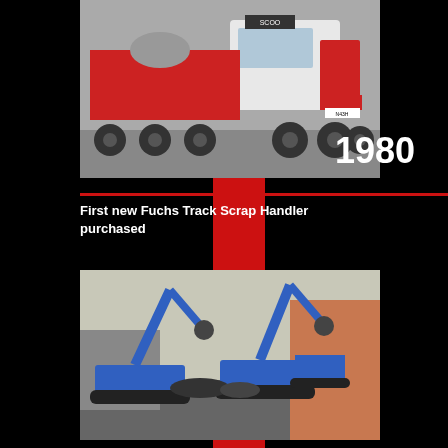[Figure (photo): Red and white Scania truck with mixer trailer photographed outdoors]
1980
First new Fuchs Track Scrap Handler purchased
[Figure (photo): Two blue Fuchs track-mounted scrap handlers working in a scrapyard]